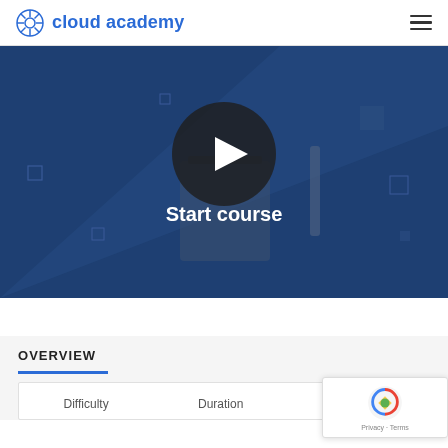cloud academy
[Figure (screenshot): Video thumbnail with dark blue background showing a play button circle and 'Start course' text overlay on a cloud/server illustration]
OVERVIEW
| Difficulty | Duration | Students |
| --- | --- | --- |